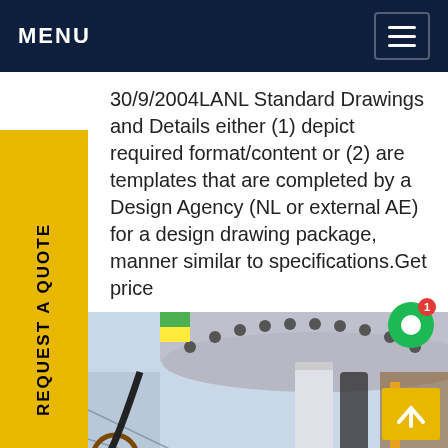MENU
30/9/2004LANL Standard Drawings and Details either (1) depict required format/content or (2) are templates that are completed by a Design Agency (NL or external AE) for a design drawing package, manner similar to specifications.Get price
[Figure (photo): Worker in blue protective suit and hard hat working underneath large industrial equipment/vessel at an engineering facility, with pipes and industrial structures visible]
REQUEST A QUOTE